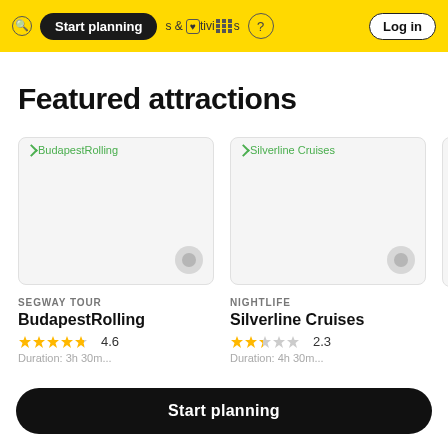Start planning | & | activities | ? | Log in
Featured attractions
[Figure (screenshot): Card image placeholder for BudapestRolling attraction]
SEGWAY TOUR
BudapestRolling
4.6
[Figure (screenshot): Card image placeholder for Silverline Cruises attraction]
NIGHTLIFE
Silverline Cruises
2.3
Start planning